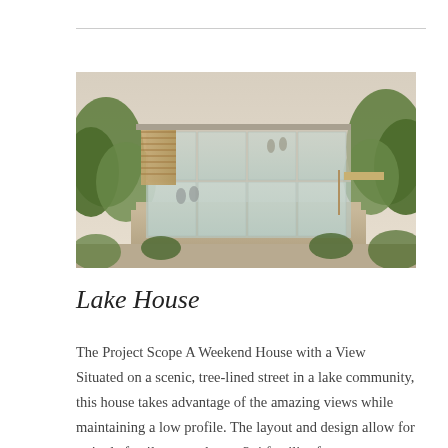[Figure (photo): Architectural rendering of a modern two-story lake house with floor-to-ceiling glass windows, wooden screen elements, and surrounded by lush green trees.]
Lake House
The Project Scope A Weekend House with a View Situated on a scenic, tree-lined street in a lake community, this house takes advantage of the amazing views while maintaining a low profile. The layout and design allow for a single family or can house 3-4 families for an unforgettable summer lake trip. Constructed